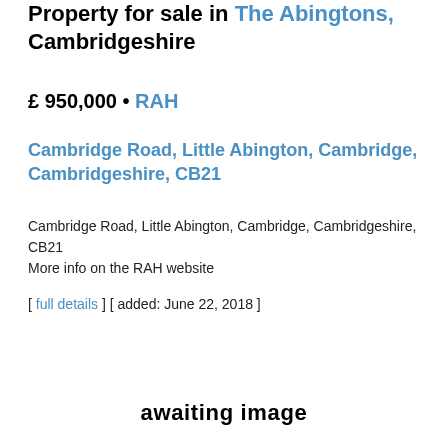Property for sale in The Abingtons, Cambridgeshire
£ 950,000 • RAH
Cambridge Road, Little Abington, Cambridge, Cambridgeshire, CB21
Cambridge Road, Little Abington, Cambridge, Cambridgeshire, CB21
More info on the RAH website
[ full details ] [ added: June 22, 2018 ]
[Figure (other): Placeholder area displaying 'awaiting image' text in bold]